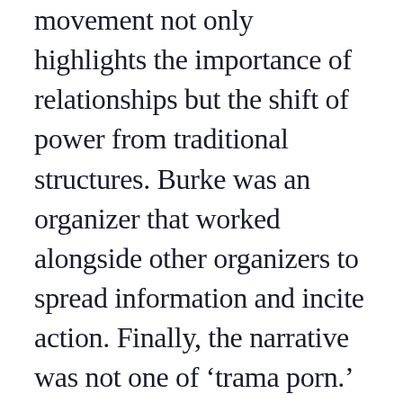movement not only highlights the importance of relationships but the shift of power from traditional structures. Burke was an organizer that worked alongside other organizers to spread information and incite action. Finally, the narrative was not one of ‘trama porn.’ The #metoo movement was directed by individuals who had experienced it first-hand and were empowered to make a change. Minorities were also given a seat at the table. The takeaway: leaders need to have the willingness to let others be